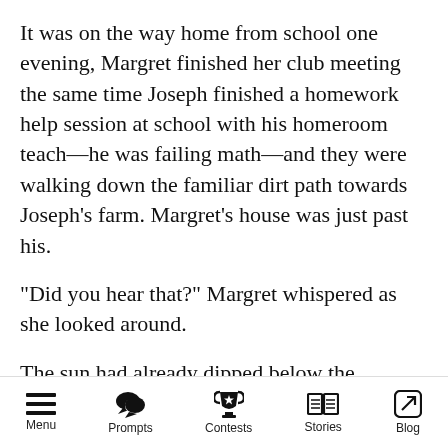It was on the way home from school one evening, Margret finished her club meeting the same time Joseph finished a homework help session at school with his homeroom teach—he was failing math—and they were walking down the familiar dirt path towards Joseph's farm. Margret's house was just past his.
"Did you hear that?" Margret whispered as she looked around.
The sun had already dipped below the horizons and crickets could be heard on either side of the path amongst the tall crops.
"I..." ... Joseph...
Menu  Prompts  Contests  Stories  Blog